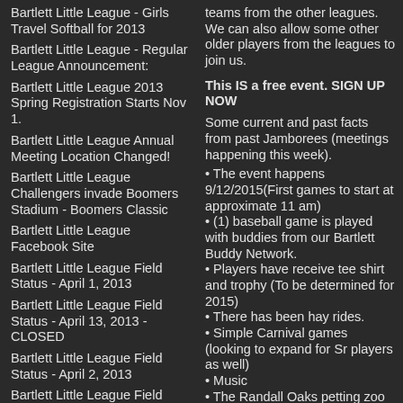Bartlett Little League - Girls Travel Softball for 2013
Bartlett Little League - Regular League Announcement:
Bartlett Little League 2013 Spring Registration Starts Nov 1.
Bartlett Little League Annual Meeting Location Changed!
Bartlett Little League Challengers invade Boomers Stadium - Boomers Classic
Bartlett Little League Facebook Site
Bartlett Little League Field Status - April 1, 2013
Bartlett Little League Field Status - April 13, 2013 - CLOSED
Bartlett Little League Field Status - April 2, 2013
Bartlett Little League Field Status - April 3, 2013
Bartlett Little League Field Status - April 9, 2013 - CLOSED
teams from the other leagues. We can also allow some other older players from the leagues to join us.
This IS a free event. SIGN UP NOW
Some current and past facts from past Jamborees (meetings happening this week).
• The event happens 9/12/2015(First games to start at approximate 11 am)
• (1) baseball game is played with buddies from our Bartlett Buddy Network.
• Players have receive tee shirt and trophy (To be determined for 2015)
• There has been hay rides.
• Simple Carnival games (looking to expand for Sr players as well)
• Music
• The Randall Oaks petting zoo FREE to Challengers